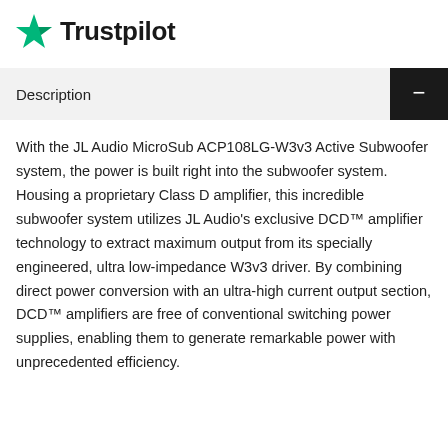[Figure (logo): Trustpilot logo with green star icon and 'Trustpilot' wordmark in black]
Description
With the JL Audio MicroSub ACP108LG-W3v3 Active Subwoofer system, the power is built right into the subwoofer system. Housing a proprietary Class D amplifier, this incredible subwoofer system utilizes JL Audio's exclusive DCD™ amplifier technology to extract maximum output from its specially engineered, ultra low-impedance W3v3 driver. By combining direct power conversion with an ultra-high current output section, DCD™ amplifiers are free of conventional switching power supplies, enabling them to generate remarkable power with unprecedented efficiency.